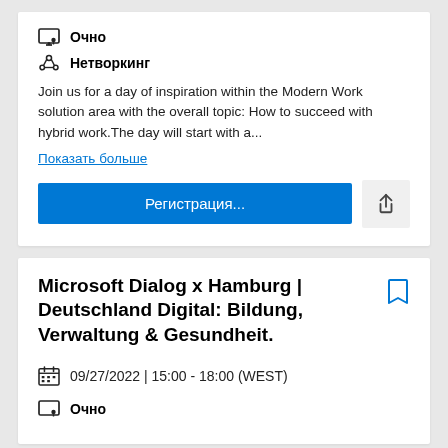Очно
Нетворкинг
Join us for a day of inspiration within the Modern Work solution area with the overall topic: How to succeed with hybrid work.The day will start with a...
Показать больше
Регистрация...
Microsoft Dialog x Hamburg | Deutschland Digital: Bildung, Verwaltung & Gesundheit.
09/27/2022 | 15:00 - 18:00 (WEST)
Очно